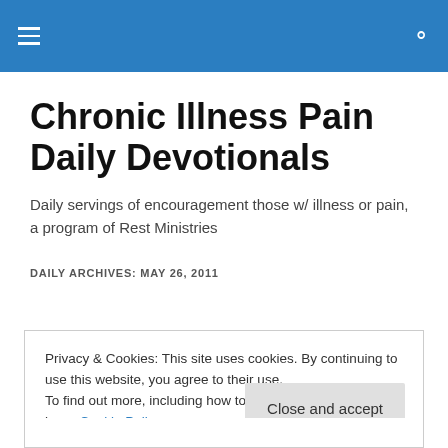≡  🔍
Chronic Illness Pain Daily Devotionals
Daily servings of encouragement those w/ illness or pain, a program of Rest Ministries
DAILY ARCHIVES: MAY 26, 2011
Privacy & Cookies: This site uses cookies. By continuing to use this website, you agree to their use.
To find out more, including how to control cookies, see here: Cookie Policy